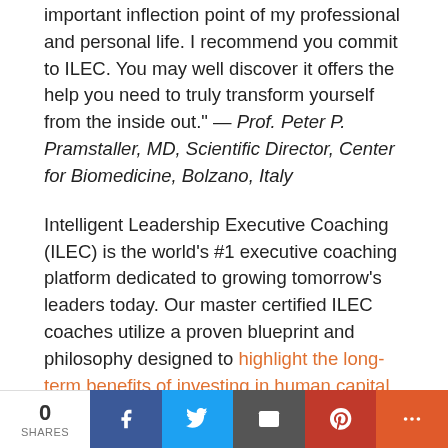important inflection point of my professional and personal life. I recommend you commit to ILEC. You may well discover it offers the help you need to truly transform yourself from the inside out." — Prof. Peter P. Pramstaller, MD, Scientific Director, Center for Biomedicine, Bolzano, Italy
Intelligent Leadership Executive Coaching (ILEC) is the world's #1 executive coaching platform dedicated to growing tomorrow's leaders today. Our master certified ILEC coaches utilize a proven blueprint and philosophy designed to highlight the long-term benefits of investing in human capital. If you'd like to count yourself among the 100% of ILEC coaching clients who experienced executive leadership improvement in just six months,
0 SHARES | Facebook | Twitter | Email | Pinterest | More